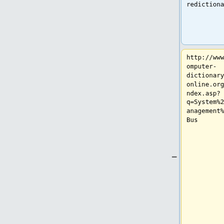redictionary.com/ohci
http://www.computer-dictionary-online.org/index.asp?q=System%20Management%20Bus
http://developer.intel.com/technology/1394/download/ohci_11.htm
See I2C for more info.
----------- ----------- ----------- ----------- ----
----------- ----------- ----------- ----------- ----
'''ACPI''' (Advanced ...
'''PAM''' (Programmabl ...